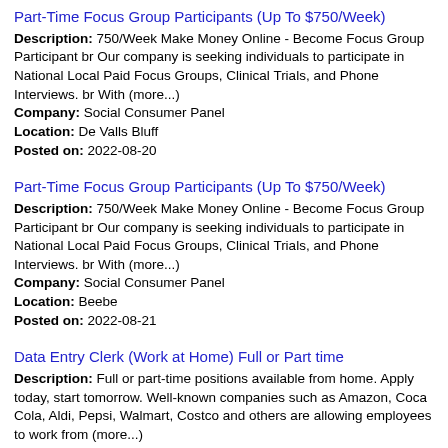Part-Time Focus Group Participants (Up To $750/Week)
Description: 750/Week Make Money Online - Become Focus Group Participant br Our company is seeking individuals to participate in National Local Paid Focus Groups, Clinical Trials, and Phone Interviews. br With (more...)
Company: Social Consumer Panel
Location: De Valls Bluff
Posted on: 2022-08-20
Part-Time Focus Group Participants (Up To $750/Week)
Description: 750/Week Make Money Online - Become Focus Group Participant br Our company is seeking individuals to participate in National Local Paid Focus Groups, Clinical Trials, and Phone Interviews. br With (more...)
Company: Social Consumer Panel
Location: Beebe
Posted on: 2022-08-21
Data Entry Clerk (Work at Home) Full or Part time
Description: Full or part-time positions available from home. Apply today, start tomorrow. Well-known companies such as Amazon, Coca Cola, Aldi, Pepsi, Walmart, Costco and others are allowing employees to work from (more...)
Company: Latest Jobs Today
Location: Warren
Posted on: 2022-08-13